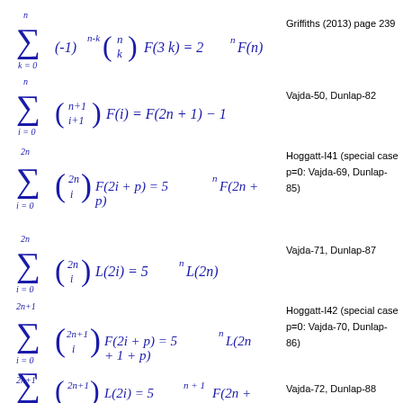Griffiths (2013) page 239
Vajda-50, Dunlap-82
Hoggatt-I41 (special case p=0: Vajda-69, Dunlap-85)
Vajda-71, Dunlap-87
Hoggatt-I42 (special case p=0: Vajda-70, Dunlap-86)
Vajda-72, Dunlap-88